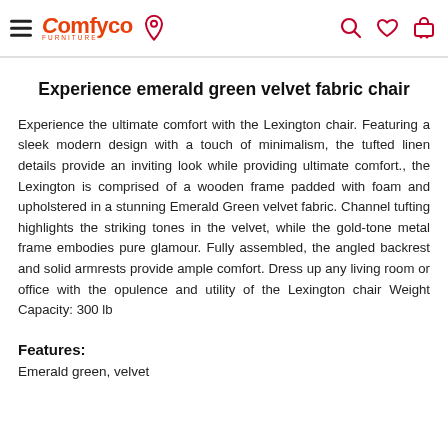Comfyco [logo with hamburger menu, location pin, search, heart, cart icons]
Experience emerald green velvet fabric chair
Experience the ultimate comfort with the Lexington chair. Featuring a sleek modern design with a touch of minimalism, the tufted linen details provide an inviting look while providing ultimate comfort., the Lexington is comprised of a wooden frame padded with foam and upholstered in a stunning Emerald Green velvet fabric. Channel tufting highlights the striking tones in the velvet, while the gold-tone metal frame embodies pure glamour. Fully assembled, the angled backrest and solid armrests provide ample comfort. Dress up any living room or office with the opulence and utility of the Lexington chair Weight Capacity: 300 lb
Features:
Emerald green, velvet